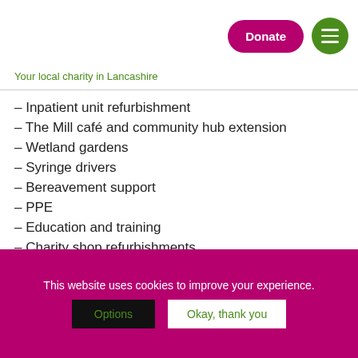[Figure (screenshot): Donate button (pink/magenta rounded rectangle) and green circular hamburger menu icon]
Your local charity in Lancashire
– Inpatient unit refurbishment
– The Mill café and community hub extension
– Wetland gardens
– Syringe drivers
– Bereavement support
– PPE
– Education and training
– Charity shop refurbishments
We value the importance of keeping in close contact with
This website uses cookies to improve your experience.